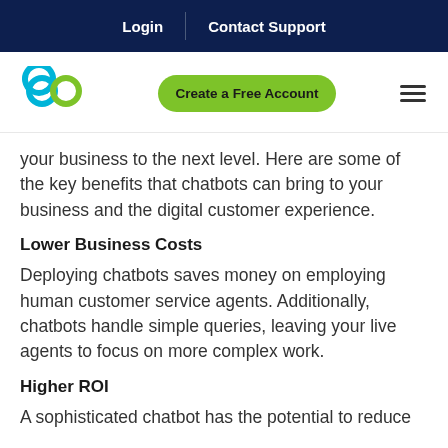Login | Contact Support
[Figure (logo): Cyan and green chain-link loop logo]
Create a Free Account
your business to the next level. Here are some of the key benefits that chatbots can bring to your business and the digital customer experience.
Lower Business Costs
Deploying chatbots saves money on employing human customer service agents. Additionally, chatbots handle simple queries, leaving your live agents to focus on more complex work.
Higher ROI
A sophisticated chatbot has the potential to reduce